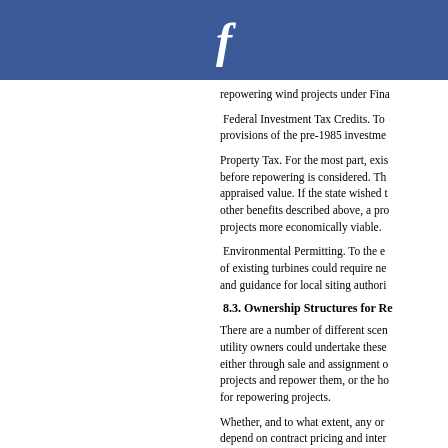f
repowering wind projects under Fina
Federal Investment Tax Credits. To provisions of the pre-1985 investme
Property Tax. For the most part, exis before repowering is considered. Th appraised value. If the state wished t other benefits described above, a pro projects more economically viable.
Environmental Permitting. To the e of existing turbines could require ne and guidance for local siting authori
8.3. Ownership Structures for Re
There are a number of different scen utility owners could undertake these either through sale and assignment o projects and repower them, or the ho for repowering projects.
Whether, and to what extent, any or depend on contract pricing and inter program. Care should be taken, how benefiting utility shareholders.